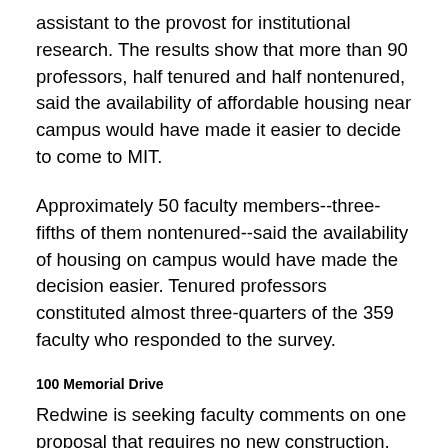assistant to the provost for institutional research. The results show that more than 90 professors, half tenured and half nontenured, said the availability of affordable housing near campus would have made it easier to decide to come to MIT.
Approximately 50 faculty members--three-fifths of them nontenured--said the availability of housing on campus would have made the decision easier. Tenured professors constituted almost three-quarters of the 359 faculty who responded to the survey.
100 Memorial Drive
Redwine is seeking faculty comments on one proposal that requires no new construction. He noted